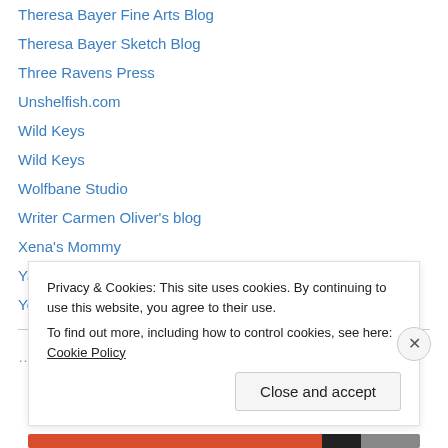Theresa Bayer Fine Arts Blog
Theresa Bayer Sketch Blog
Three Ravens Press
Unshelfish.com
Wild Keys
Wild Keys
Wolfbane Studio
Writer Carmen Oliver's blog
Xena's Mommy
Yao Illustration
Yellapalooza.com
Privacy & Cookies: This site uses cookies. By continuing to use this website, you agree to their use. To find out more, including how to control cookies, see here: Cookie Policy
Close and accept